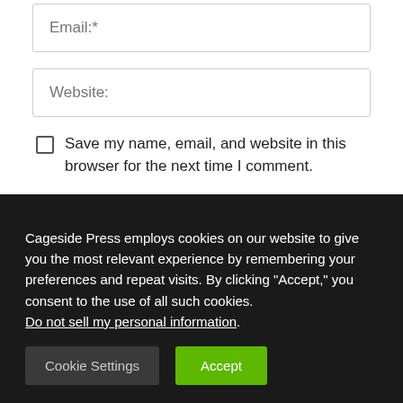Email:*
Website:
Save my name, email, and website in this browser for the next time I comment.
POST COMMENT
Cageside Press employs cookies on our website to give you the most relevant experience by remembering your preferences and repeat visits. By clicking “Accept,” you consent to the use of all such cookies. Do not sell my personal information.
Cookie Settings
Accept